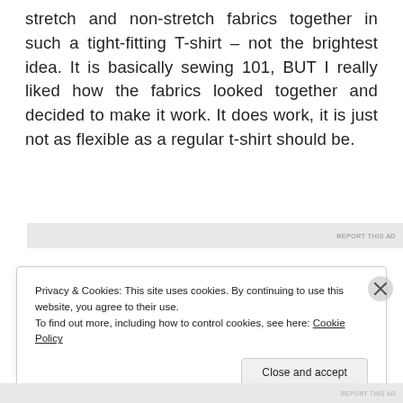stretch and non-stretch fabrics together in such a tight-fitting T-shirt – not the brightest idea. It is basically sewing 101, BUT I really liked how the fabrics looked together and decided to make it work. It does work, it is just not as flexible as a regular t-shirt should be.
Privacy & Cookies: This site uses cookies. By continuing to use this website, you agree to their use.
To find out more, including how to control cookies, see here: Cookie Policy
Close and accept